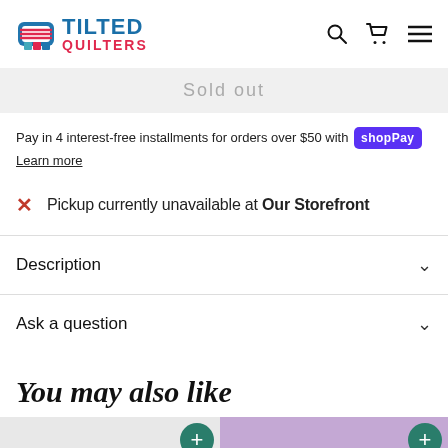Tilted Quilters
Sold out
Pay in 4 interest-free installments for orders over $50 with Shop Pay
Learn more
Pickup currently unavailable at Our Storefront
Description
Ask a question
You may also like
[Figure (photo): Product thumbnails with add buttons, partially visible at bottom of page]